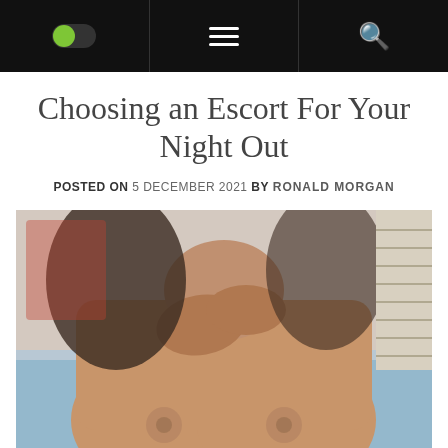[Navigation bar with toggle, hamburger menu, and search icon]
Choosing an Escort For Your Night Out
POSTED ON 5 DECEMBER 2021  BY RONALD MORGAN
[Figure (photo): Close-up photograph of a woman in a light blue top]